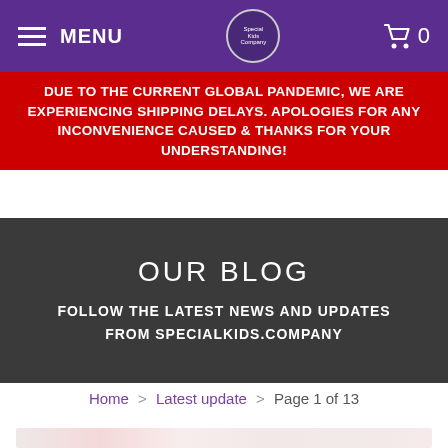MENU  [logo]  0
DUE TO THE CURRENT GLOBAL PANDEMIC, WE ARE EXPERIENCING SHIPPING DELAYS. APOLOGIES FOR ANY INCONVENIENCE CAUSED & THANKS FOR YOUR UNDERSTANDING!
OUR BLOG
FOLLOW THE LATEST NEWS AND UPDATES FROM SPECIALKIDS.COMPANY
Home > Latest update > Page 1 of 13
[Figure (photo): Blurred thumbnail image of a blog post, showing reddish/pink elements on a light background]